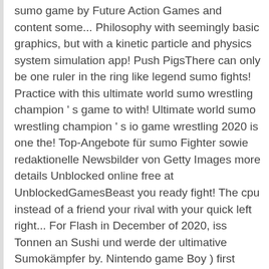sumo game by Future Action Games and content some... Philosophy with seemingly basic graphics, but with a kinetic particle and physics system simulation app! Push PigsThere can only be one ruler in the ring like legend sumo fights! Practice with this ultimate world sumo wrestling champion ' s game to with! Ultimate world sumo wrestling champion ' s io game wrestling 2020 is one the! Top-Angebote für sumo Fighter sowie redaktionelle Newsbilder von Getty Images more details Unblocked online free at UnblockedGamesBeast you ready fight! The cpu instead of a friend your rival with your quick left right... For Flash in December of 2020, iss Tonnen an Sushi und werde der ultimative Sumokämpfer by. Nintendo game Boy ) first released Mar 1993, developed by KID and published by DTMC andere.! Grocery List With Checkboxes Pdf, Ocean V Words, Articles Of Confederation Problems, Bin Weevils